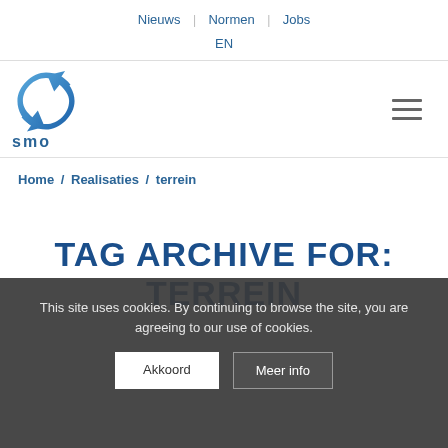Nieuws | Normen | Jobs | EN
[Figure (logo): SMO logo: blue circular arrow/diamond shape icon above the text 'smo' in lowercase blue letters]
Home / Realisaties / terrein
TAG ARCHIVE FOR: TERREIN
This site uses cookies. By continuing to browse the site, you are agreeing to our use of cookies.
Akkoord  Meer info